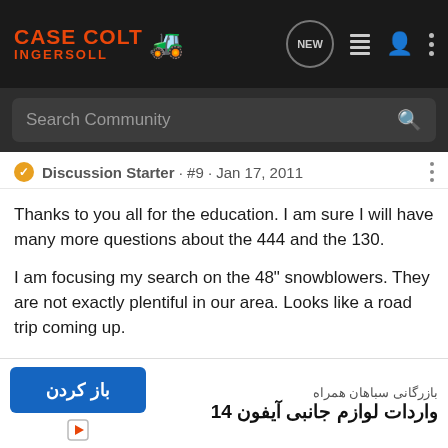Case Colt Ingersoll — Navigation bar with search
Discussion Starter · #9 · Jan 17, 2011
Thanks to you all for the education. I am sure I will have many more questions about the 444 and the 130.
I am focusing my search on the 48" snowblowers. They are not exactly plentiful in our area. Looks like a road trip coming up.
While we were working with the 444 on the driveway this afternoon my eleven year old talked to me about saving up for a Case of his own.
I think he may be vulnerable to the Case Garden Tractor disease
[Figure (screenshot): Advertisement overlay: blue button with Arabic/Farsi text 'باز کردن' and text 'بازرگانی سباهان همراه / واردات لوازم جانبی آیفون 14']